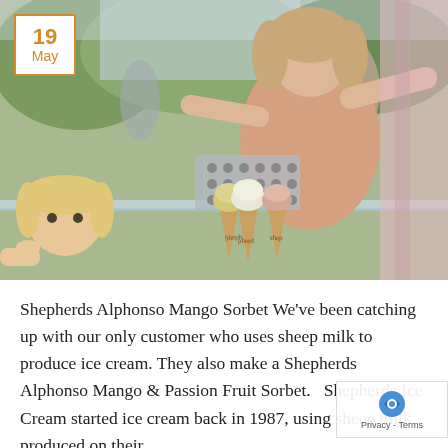[Figure (photo): Photo of ice cream stand scene. A woman behind a glass counter holds up ice cream cones in branded paper cones labeled 'Shepherds', displayed in a metal rack holder. A young blonde child peeks over the counter from the left. An outdoor market/festival setting with green foliage in background. Date badge '19 May' in orange/gold border overlaid top-left corner.]
Shepherds Alphonso Mango Sorbet We’ve been catching up with our only customer who uses sheep milk to produce ice cream. They also make a Shepherds Alphonso Mango & Passion Fruit Sorbet.   Shepherds Ice Cream started ice cream back in 1987, using sheep milk produced on their